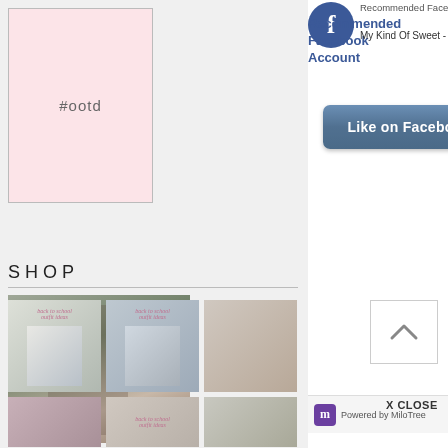[Figure (screenshot): Pink #ootd graphic box with border]
#ootd
SHOP
[Figure (photo): Woman in floral top and black skirt standing at doorway]
[Figure (screenshot): Facebook recommended account popup overlay showing Facebook logo, 'Recommended Facebook Account' text, 'My Kind Of Sweet - Style + S...' page name, and 'Like on Facebook' blue button]
Recommended Facebook Account
Recommended Facebook Account
My Kind Of Sweet - Style + S...
Like on Facebook
[Figure (photo): Striped jacket with jeans outfit flatlay]
[Figure (photo): Back to school outfit with gray pullover and spotted backpack]
[Figure (photo): Bathroom interior with vanity and artwork]
[Figure (photo): Fashion outfit flatlay - second row]
[Figure (photo): Back to school - second row]
[Figure (photo): Kitchen/gray interior - second row]
Powered by MiloTree
X CLOSE